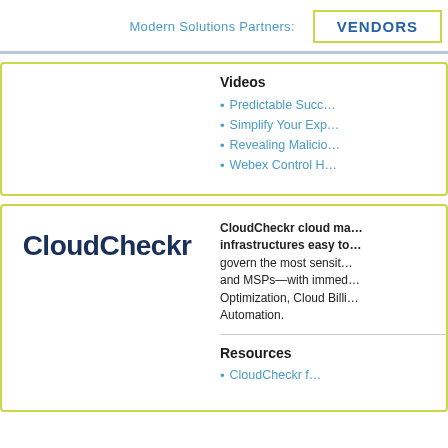Modern Solutions Partners:
VENDORS
Videos
Predictable Succ…
Simplify Your Exp…
Revealing Malicio…
Webex Control H…
[Figure (logo): CloudCheckr logo in dark navy bold text]
CloudCheckr cloud ma… infrastructures easy to… govern the most sensit… and MSPs—with immed… Optimization, Cloud Billi… Automation.
Resources
CloudCheckr f…